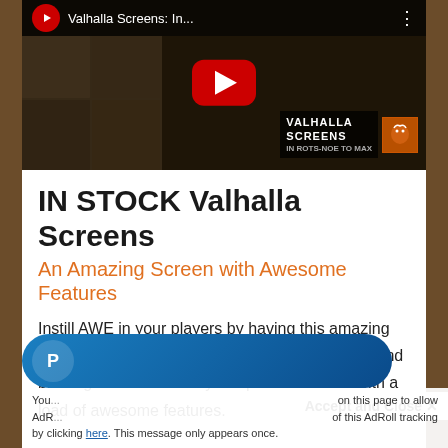[Figure (screenshot): YouTube video thumbnail for 'Valhalla Screens: In...' with red play button overlay and Valhalla Screens branding in bottom right]
IN STOCK Valhalla Screens
An Amazing Screen with Awesome Features
Instill AWE in your players by having this amazing centerpiece on your table next session. These mind blowing screens are fully sculpted and come with a load of awesome features.
[Figure (screenshot): PayPal blue gradient pill button with white PayPal logo]
Accept and Close ✕
You... on this page to allow AdR... of this AdRoll tracking by clicking here. This message only appears once.